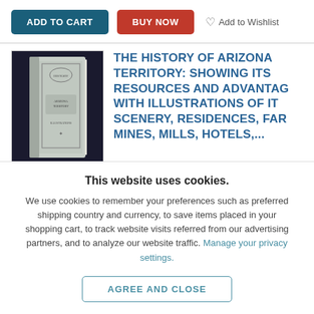ADD TO CART | BUY NOW | Add to Wishlist
[Figure (photo): Book cover photo of 'The History of Arizona Territory']
THE HISTORY OF ARIZONA TERRITORY: SHOWING ITS RESOURCES AND ADVANTAGES WITH ILLUSTRATIONS OF ITS SCENERY, RESIDENCES, FARMS, MINES, MILLS, HOTELS,...
This website uses cookies.
We use cookies to remember your preferences such as preferred shipping country and currency, to save items placed in your shopping cart, to track website visits referred from our advertising partners, and to analyze our website traffic. Manage your privacy settings.
AGREE AND CLOSE